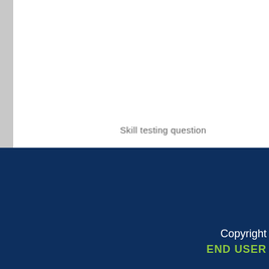[Figure (photo): Partial view of a document page with a left grey strip and top-right light grey image placeholder area, over a white background.]
Skill testing question
[Figure (other): Dark navy blue footer block covering the bottom portion of the page.]
Copyright END USER